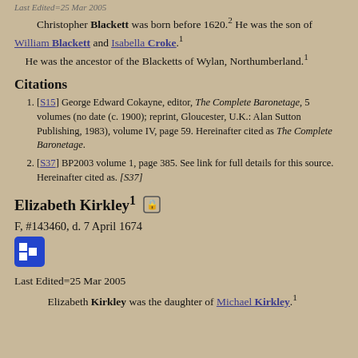Last Edited=25 Mar 2005
Christopher Blackett was born before 1620.2 He was the son of William Blackett and Isabella Croke.1 He was the ancestor of the Blacketts of Wylan, Northumberland.1
Citations
[S15] George Edward Cokayne, editor, The Complete Baronetage, 5 volumes (no date (c. 1900); reprint, Gloucester, U.K.: Alan Sutton Publishing, 1983), volume IV, page 59. Hereinafter cited as The Complete Baronetage.
[S37] BP2003 volume 1, page 385. See link for full details for this source. Hereinafter cited as. [S37]
Elizabeth Kirkley1
F, #143460, d. 7 April 1674
Last Edited=25 Mar 2005
Elizabeth Kirkley was the daughter of Michael Kirkley.1